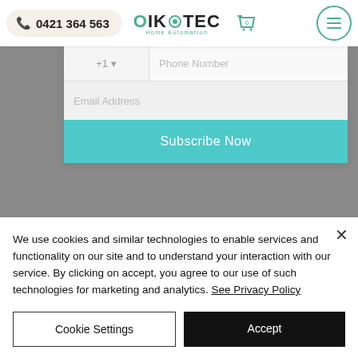[Figure (screenshot): Website navigation bar with phone number pill (0421 364 563), OikoTEC Home Automation logo, shopping cart icon with badge 0, and hamburger menu button in teal circle]
[Figure (screenshot): Website form section with phone number input (country code +1 dropdown and Phone Number field), Email Address field, and teal Subscribe Now button, on grey background]
We use cookies and similar technologies to enable services and functionality on our site and to understand your interaction with our service. By clicking on accept, you agree to our use of such technologies for marketing and analytics. See Privacy Policy
Cookie Settings
Accept